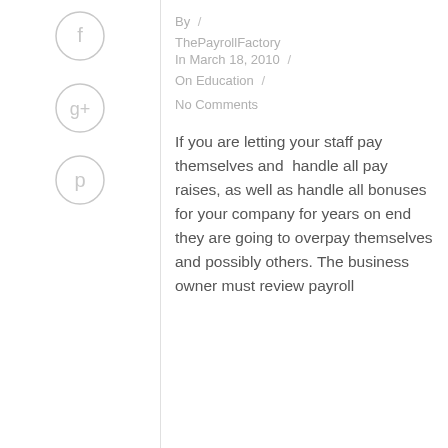[Figure (other): Facebook social share circle icon]
[Figure (other): Google+ social share circle icon]
[Figure (other): Pinterest social share circle icon]
By /
ThePayrollFactory
In March 18, 2010 /
On Education /
No Comments
If you are letting your staff pay themselves and  handle all pay raises, as well as handle all bonuses for your company for years on end they are going to overpay themselves and possibly others. The business owner must review payroll